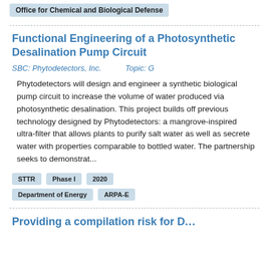Office for Chemical and Biological Defense
Functional Engineering of a Photosynthetic Desalination Pump Circuit
SBC: Phytodetectors, Inc.    Topic: G
Phytodetectors will design and engineer a synthetic biological pump circuit to increase the volume of water produced via photosynthetic desalination. This project builds off previous technology designed by Phytodetectors: a mangrove-inspired ultra-filter that allows plants to purify salt water as well as secrete water with properties comparable to bottled water. The partnership seeks to demonstrat...
STTR
Phase I
2020
Department of Energy
ARPA-E
Providing a compilation risk for D...